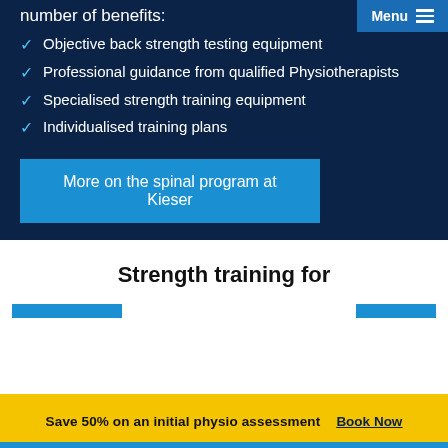number of benefits:
Objective back strength testing equipment
Professional guidance from qualified Physiotherapists
Specialised strength training equipment
Individualised training plans
More on the spinal program at Kieser
Strength training for
Save 50% on an initial physio assessment  Book Now